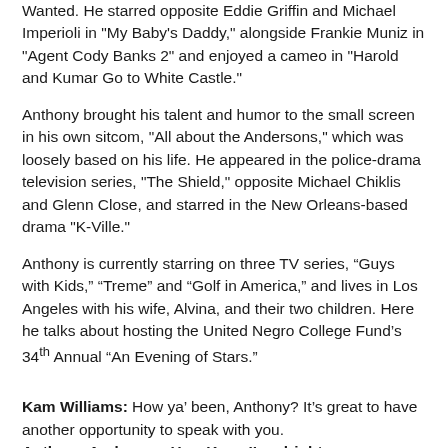Wanted. He starred opposite Eddie Griffin and Michael Imperioli in "My Baby's Daddy," alongside Frankie Muniz in "Agent Cody Banks 2" and enjoyed a cameo in "Harold and Kumar Go to White Castle."
Anthony brought his talent and humor to the small screen in his own sitcom, "All about the Andersons," which was loosely based on his life. He appeared in the police-drama television series, "The Shield," opposite Michael Chiklis and Glenn Close, and starred in the New Orleans-based drama "K-Ville."
Anthony is currently starring on three TV series, “Guys with Kids,” “Treme” and “Golf in America,” and lives in Los Angeles with his wife, Alvina, and their two children. Here he talks about hosting the United Negro College Fund’s 34th Annual “An Evening of Stars.”
Kam Williams: How ya’ been, Anthony? It’s great to have another opportunity to speak with you. Anthony Anderson: Hey, Kam. I’m alright.